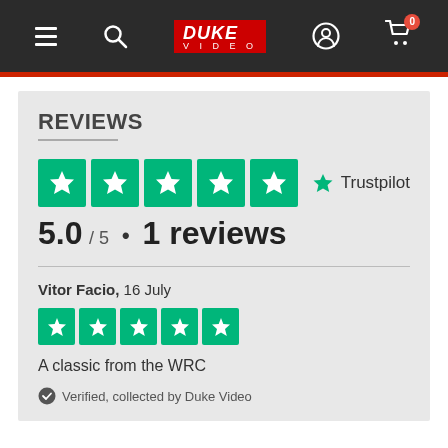[Figure (screenshot): Duke Video website navigation bar with hamburger menu, search, logo, user icon, and cart with 0 items]
REVIEWS
[Figure (infographic): Five green Trustpilot star boxes (5 out of 5 stars) with Trustpilot logo and star to the right]
5.0 / 5 • 1 reviews
Vitor Facio, 16 July
[Figure (infographic): Five small green Trustpilot star boxes (5 out of 5 stars)]
A classic from the WRC
Verified, collected by Duke Video